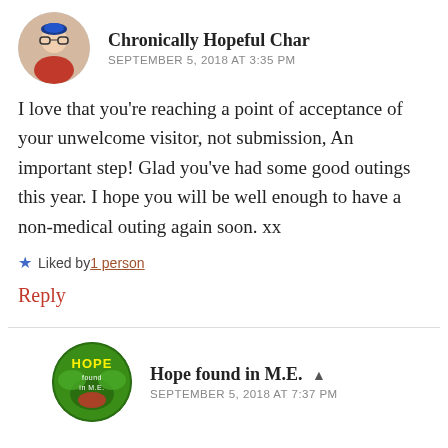Chronically Hopeful Char
SEPTEMBER 5, 2018 AT 3:35 PM
I love that you’re reaching a point of acceptance of your unwelcome visitor, not submission, An important step! Glad you’ve had some good outings this year. I hope you will be well enough to have a non-medical outing again soon. xx
★ Liked by 1 person
Reply
Hope found in M.E. ▲
SEPTEMBER 5, 2018 AT 7:37 PM